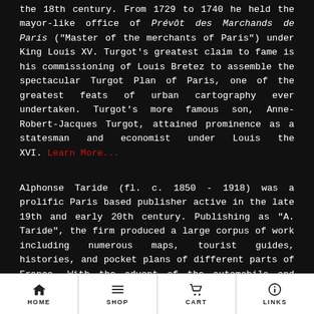the 18th century. From 1729 to 1740 he held the mayor-like office of Prévôt des Marchands de Paris ("Master of the merchants of Paris") under King Louis XV. Turgot's greatest claim to fame is his commissioning of Louis Bretez to assemble the spectacular Turgot Plan of Paris, one of the greatest feats of urban cartography ever undertaken. Turgot's more famous son, Anne-Robert-Jacques Turgot, attained prominence as a statesman and economist under Louis the XVI. Learn More...
Alphonse Taride (fl. c. 1850 - 1918) was a prolific Paris based publisher active in the late 19th and early 20th century. Publishing as "A. Taride", the firm produced a large corpus of work including numerous maps, tourist guides, histories, and pocket plans of different parts of France. With the advent of the automobile and improved roadways in the early 20th century, the name
HOME  SHOP  CART  LINKS